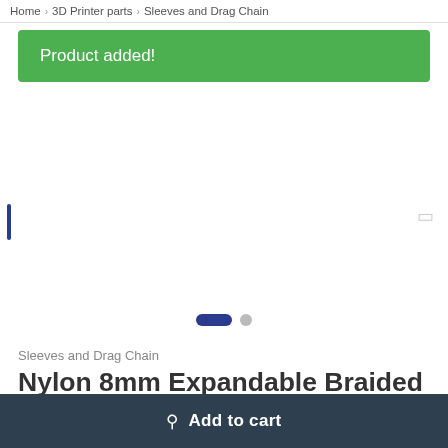Home > 3D Printer parts > Sleeves and Drag Chain
Product added!
[Figure (screenshot): Product image carousel area with navigation arrows and dot indicators (2 dots: one active/dark blue pill, one inactive/grey circle)]
Sleeves and Drag Chain
Nylon 8mm Expandable Braided Sleeve for Wire Protection-2M Length
★★★★★ (1 customer review)
Add to cart